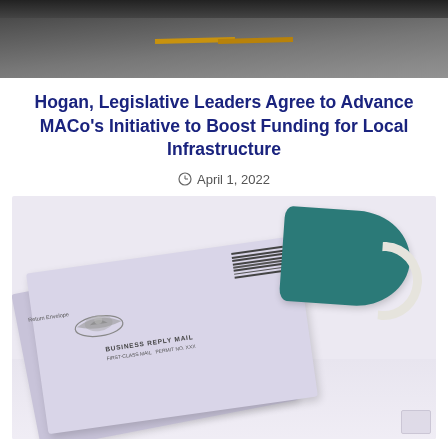[Figure (photo): Aerial or close-up view of a road with yellow center lines on dark asphalt]
Hogan, Legislative Leaders Agree to Advance MACo's Initiative to Boost Funding for Local Infrastructure
April 1, 2022
[Figure (photo): A lavender/purple mail-in ballot envelope with eagle watermark and BUSINESS REPLY MAIL text, next to a teal surgical face mask, on a light surface]